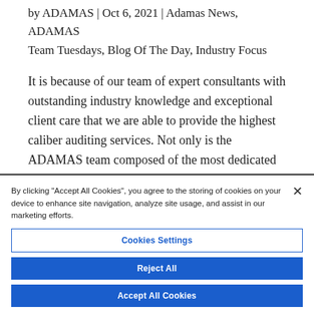by ADAMAS | Oct 6, 2021 | Adamas News, ADAMAS Team Tuesdays, Blog Of The Day, Industry Focus
It is because of our team of expert consultants with outstanding industry knowledge and exceptional client care that we are able to provide the highest caliber auditing services. Not only is the ADAMAS team composed of the most dedicated and
By clicking “Accept All Cookies”, you agree to the storing of cookies on your device to enhance site navigation, analyze site usage, and assist in our marketing efforts.
Cookies Settings
Reject All
Accept All Cookies